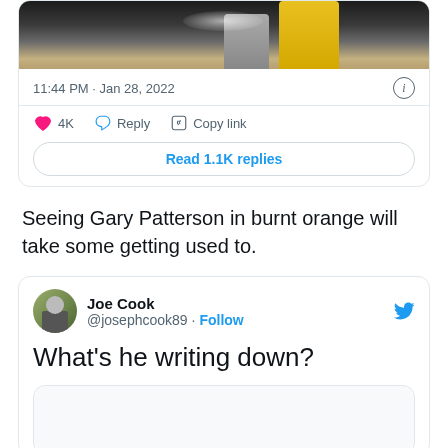[Figure (screenshot): Cropped Twitter/X post showing a photo of two figures (one in yellow, one in gray) on a dark background. Below the image: timestamp '11:44 PM · Jan 28, 2022' with info icon, action row with heart (4K), Reply, Copy link buttons, and a 'Read 1.1K replies' button.]
Seeing Gary Patterson in burnt orange will take some getting used to.
[Figure (screenshot): Twitter/X reply card from Joe Cook (@josephcook89) with Follow link and Twitter bird icon. Tweet text reads 'What's he writing down?' with a nested image placeholder box below.]